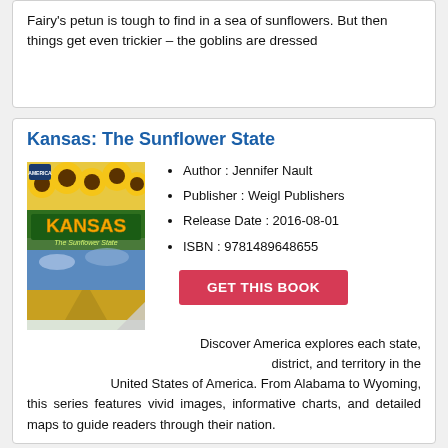Fairy's petun is tough to find in a sea of sunflowers. But then things get even trickier – the goblins are dressed
Kansas: The Sunflower State
[Figure (illustration): Book cover of 'Kansas: The Sunflower State' showing sunflowers, Kansas text, and landscape]
Author : Jennifer Nault
Publisher : Weigl Publishers
Release Date : 2016-08-01
ISBN : 9781489648655
GET THIS BOOK
Discover America explores each state, district, and territory in the United States of America. From Alabama to Wyoming, this series features vivid images, informative charts, and detailed maps to guide readers through their nation.